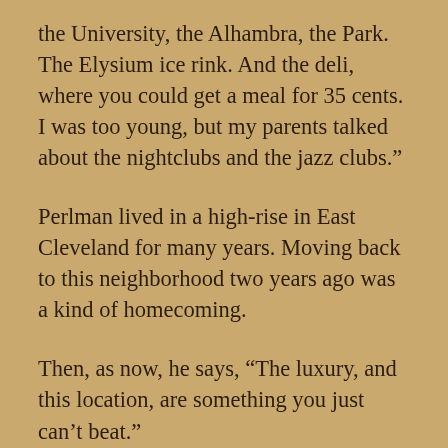the University, the Alhambra, the Park. The Elysium ice rink. And the deli, where you could get a meal for 35 cents. I was too young, but my parents talked about the nightclubs and the jazz clubs.”
Perlman lived in a high-rise in East Cleveland for many years. Moving back to this neighborhood two years ago was a kind of homecoming.
Then, as now, he says, “The luxury, and this location, are something you just can’t beat.”
Yes, the clubs, the theaters, the ice rink, the crowds of thousands of pedestrians are gone.